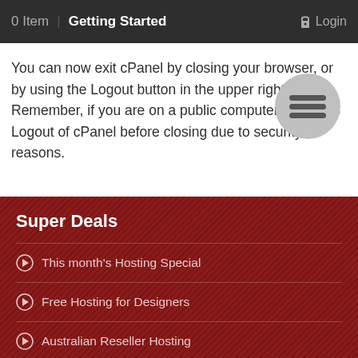0 Item | Getting Started   Login
You can now exit cPanel by closing your browser, or by using the Logout button in the upper right corner. Remember, if you are on a public computer, ALWAYS Logout of cPanel before closing due to security reasons.
[Figure (illustration): Circular grey menu/hamburger icon overlay on the text]
Super Deals
This month's Hosting Special
Free Hosting for Designers
Australian Reseller Hosting